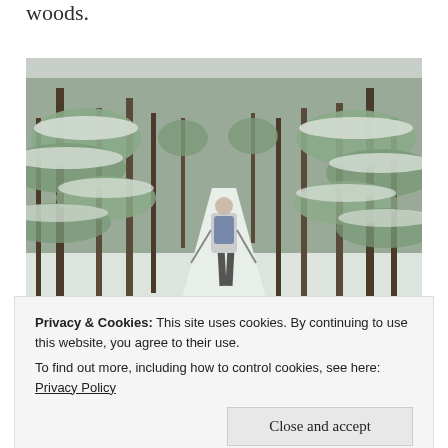woods.
[Figure (photo): A person cross-country skiing or snowshoeing along a snowy trail through a dense pine forest in winter. The trees are heavily laden with snow. The figure is seen from behind, wearing a backpack and using poles.]
[Figure (photo): Partial view of another winter outdoor scene, partially obscured by the cookie banner.]
Privacy & Cookies: This site uses cookies. By continuing to use this website, you agree to their use.
To find out more, including how to control cookies, see here: Privacy Policy